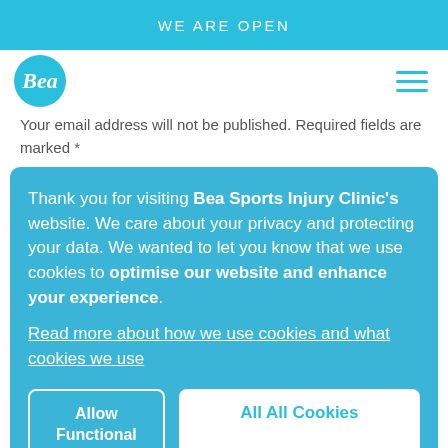WE ARE OPEN
[Figure (logo): Bea Sports Injury Clinic logo — circular blue badge with italic white text 'Bea']
Your email address will not be published. Required fields are marked *
Thank you for visiting Bea Sports Injury Clinic's website. We care about your privacy and protecting your data. We wanted to let you know that we use cookies to optimise our website and enhance your experience. Read more about how we use cookies and what cookies we use
Allow Functional only
All All Cookies
Name *
Email *